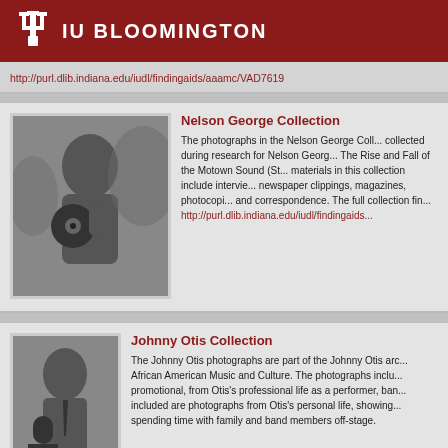IU BLOOMINGTON
http://purl.dlib.indiana.edu/iudl/findingaids/aaamc/VAD7619
Nelson George Collection
[Figure (photo): Black and white photograph of a young woman holding a record, appearing to be at a music event.]
The photographs in the Nelson George Collection were collected during research for Nelson George's book, Where Did Our Love Go: The Rise and Fall of the Motown Sound (St. Martin's Press, 1985). The materials in this collection include interviews, notes, newspaper clippings, magazines, photocopies of documents, and correspondence. The full collection finding aid is at http://purl.dlib.indiana.edu/iudl/findingaids...
Johnny Otis Collection
[Figure (photo): Black and white photograph of Johnny Otis at a microphone labeled KWBR, wearing a suit and tie.]
The Johnny Otis photographs are part of the Johnny Otis archive at the Archives of African American Music and Culture. The photographs include images, mostly promotional, from Otis's professional life as a performer, bandleader, and emcee. Also included are photographs from Otis's personal life, showing family members and friends spending time with family and band members off-stage.